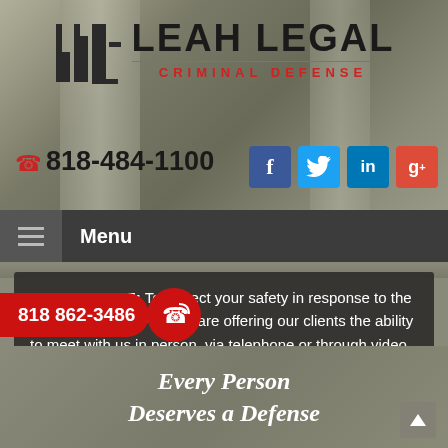[Figure (logo): Leah Legal Criminal Defense law firm logo with stylized L icon and firm name]
818-484-1100
[Figure (infographic): Social media icons: Facebook, Twitter, LinkedIn, Google+]
Menu
PLEASE NOTE: To protect your safety in response to the threats of COVID-19, we are offering our clients the ability to meet with us in person, via telephone or through video conferencing. Please call our office to discuss your options.
818 862-3486
Every Person Deserves a Defense